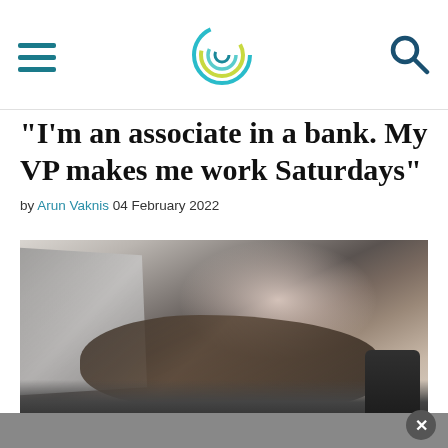Navigation header with hamburger menu, circular logo, and search icon
"I'm an associate in a bank. My VP makes me work Saturdays"
by Arun Vaknis 04 February 2022
[Figure (photo): Close-up photograph of hands typing on a laptop keyboard on a desk, with a dark mug/cup visible on the right side. The image is dark and moody with blurred background.]